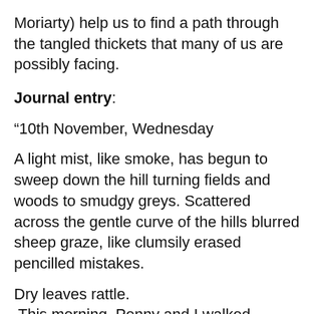Moriarty) help us to find a path through the tangled thickets that many of us are possibly facing.
Journal entry:
“10th November, Wednesday
A light mist, like smoke, has begun to sweep down the hill turning fields and woods to smudgy greys. Scattered across the gentle curve of the hills blurred sheep graze, like clumsily erased pencilled mistakes.
Dry leaves rattle.
 This morning, Penny and I walked beneath a cave of stars
 and now I see the sun.”